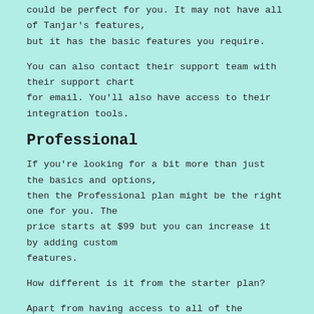could be perfect for you. It may not have all of Tanjar's features, but it has the basic features you require.
You can also contact their support team with their support chart for email. You'll also have access to their integration tools.
Professional
If you're looking for a bit more than just the basics and options, then the Professional plan might be the right one for you. The price starts at $99 but you can increase it by adding custom features.
How different is it from the starter plan?
Apart from having access to all of the Starter plan's options, you also have access to the support of their customer service via phone access to APIs, as well as sophisticated CSV import.